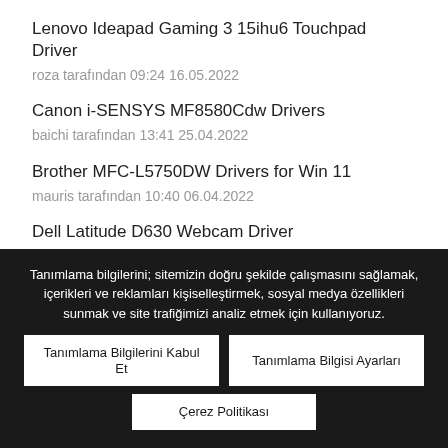Lenovo Ideapad Gaming 3 15ihu6 Touchpad Driver
roza tarafından 09:24 16.05.2022
Canon i-SENSYS MF8580Cdw Drivers
baichi tarafından 13:41 25.04.2022
Brother MFC-L5750DW Drivers for Win 11
mauris tarafından 10:40 06.04.2022
Dell Latitude D630 Webcam Driver
roza tarafından 11:59 25.03.2022
Bizim Takım
Tanımlama bilgilerini; sitemizin doğru şekilde çalışmasını sağlamak, içerikleri ve reklamları kişiselleştirmek, sosyal medya özellikleri sunmak ve site trafiğimizi analiz etmek için kullanıyoruz.
Tanımlama Bilgilerini Kabul Et
Tanımlama Bilgisi Ayarları
Çerez Politikası